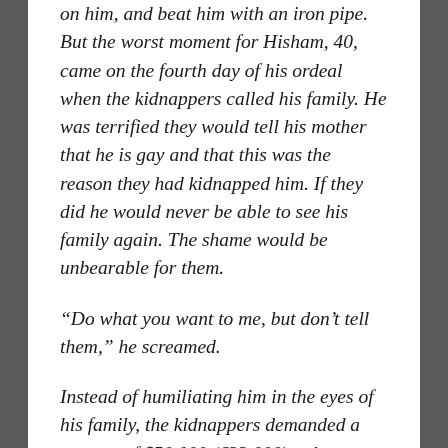on him, and beat him with an iron pipe. But the worst moment for Hisham, 40, came on the fourth day of his ordeal when the kidnappers called his family. He was terrified they would tell his mother that he is gay and that this was the reason they had kidnapped him. If they did he would never be able to see his family again. The shame would be unbearable for them.
“Do what you want to me, but don’t tell them,” he screamed.
Instead of humiliating him in the eyes of his family, the kidnappers demanded a ransom of $50,000 (€33,000), a huge sum for the average Iraqi family. His parents had to go into debt and sell off